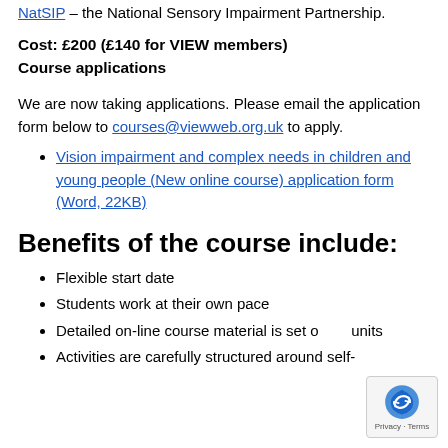NatSIP – the National Sensory Impairment Partnership.
Cost: £200 (£140 for VIEW members)
Course applications
We are now taking applications. Please email the application form below to courses@viewweb.org.uk to apply.
Vision impairment and complex needs in children and young people (New online course) application form (Word, 22KB)
Benefits of the course include:
Flexible start date
Students work at their own pace
Detailed on-line course material is set out in units
Activities are carefully structured around self-